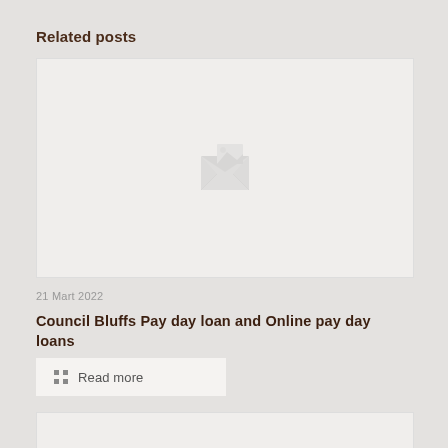Related posts
[Figure (photo): Placeholder image with broken image icon for a blog post thumbnail]
21 Mart 2022
Council Bluffs Pay day loan and Online pay day loans
Read more
[Figure (photo): Partial placeholder image for a second blog post thumbnail]